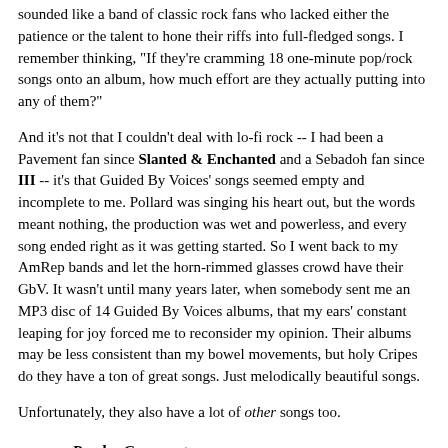sounded like a band of classic rock fans who lacked either the patience or the talent to hone their riffs into full-fledged songs. I remember thinking, "If they're cramming 18 one-minute pop/rock songs onto an album, how much effort are they actually putting into any of them?"
And it's not that I couldn't deal with lo-fi rock -- I had been a Pavement fan since Slanted & Enchanted and a Sebadoh fan since III -- it's that Guided By Voices' songs seemed empty and incomplete to me. Pollard was singing his heart out, but the words meant nothing, the production was wet and powerless, and every song ended right as it was getting started. So I went back to my AmRep bands and let the horn-rimmed glasses crowd have their GbV. It wasn't until many years later, when somebody sent me an MP3 disc of 14 Guided By Voices albums, that my ears' constant leaping for joy forced me to reconsider my opinion. Their albums may be less consistent than my bowel movements, but holy Cripes do they have a ton of great songs. Just melodically beautiful songs.
Unfortunately, they also have a lot of other songs too.
Reader Comments
bri.hyndman@sympatico.ca
"Am I missing any good ones? Tell a guy!"